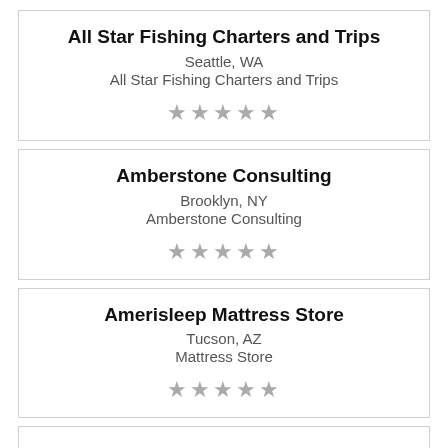All Star Fishing Charters and Trips
Seattle, WA
All Star Fishing Charters and Trips
★★★★★
Amberstone Consulting
Brooklyn, NY
Amberstone Consulting
★★★★★
Amerisleep Mattress Store
Tucson, AZ
Mattress Store
★★★★★